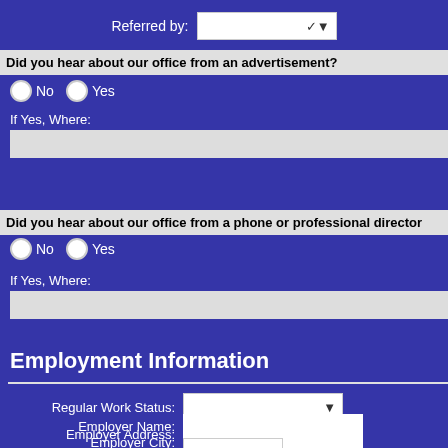Referred by:
Did you hear about our office from an advertisement?
No  Yes
If Yes, Where:
Did you hear about our office from a phone or professional directory?
No  Yes
If Yes, Where:
Employment Information
Regular Work Status:
Employer Name:
Employer Address:
Employer City:
Employer State: